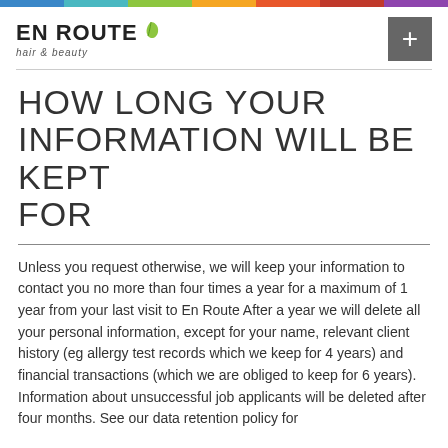[Figure (logo): En Route hair & beauty logo with green leaf icon]
HOW LONG YOUR INFORMATION WILL BE KEPT FOR
Unless you request otherwise, we will keep your information to contact you no more than four times a year for a maximum of 1 year from your last visit to En Route After a year we will delete all your personal information, except for your name, relevant client history (eg allergy test records which we keep for 4 years) and financial transactions (which we are obliged to keep for 6 years). Information about unsuccessful job applicants will be deleted after four months. See our data retention policy for